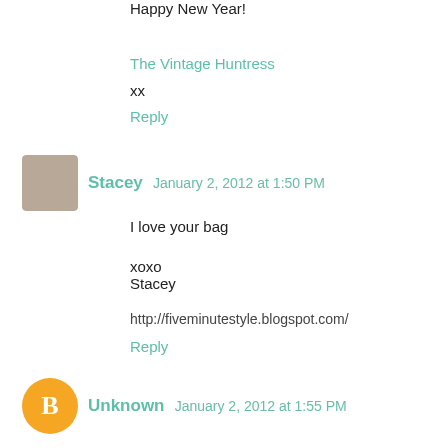Happy New Year!
The Vintage Huntress
xx
Reply
Stacey  January 2, 2012 at 1:50 PM
I love your bag
xoxo
Stacey
http://fiveminutestyle.blogspot.com/
Reply
Unknown  January 2, 2012 at 1:55 PM
You look great..love the bag & coat! Happy new year!
Reply